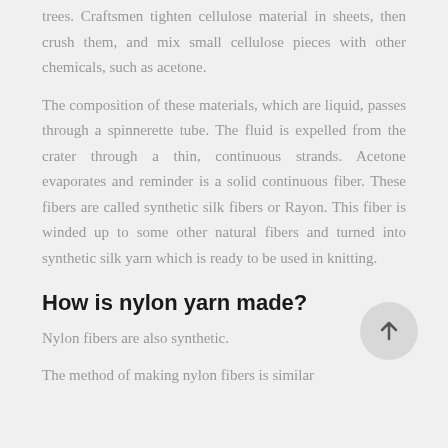trees. Craftsmen tighten cellulose material in sheets, then crush them, and mix small cellulose pieces with other chemicals, such as acetone.
The composition of these materials, which are liquid, passes through a spinnerette tube. The fluid is expelled from the crater through a thin, continuous strands. Acetone evaporates and reminder is a solid continuous fiber. These fibers are called synthetic silk fibers or Rayon. This fiber is winded up to some other natural fibers and turned into synthetic silk yarn which is ready to be used in knitting.
How is nylon yarn made?
Nylon fibers are also synthetic.
The method of making nylon fibers is similar